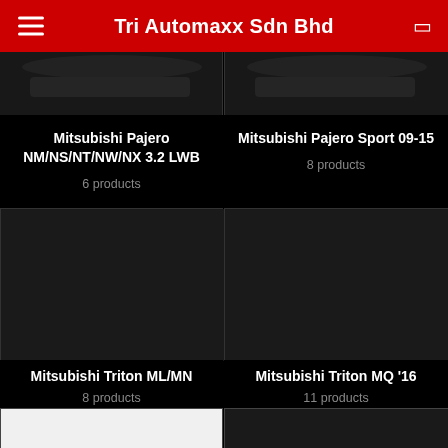Tri Automaxx Sdn Bhd
[Figure (screenshot): Partial top view of Mitsubishi Pajero NM/NS/NT/NW/NX 3.2 LWB product image (cropped, dark)]
[Figure (screenshot): Partial top view of Mitsubishi Pajero Sport 09-15 product image (cropped, dark)]
Mitsubishi Pajero NM/NS/NT/NW/NX 3.2 LWB
6 products
Mitsubishi Pajero Sport 09-15
8 products
[Figure (photo): Dark image placeholder for Mitsubishi Triton ML/MN]
[Figure (photo): Dark image placeholder for Mitsubishi Triton MQ '16]
Mitsubishi Triton ML/MN
8 products
Mitsubishi Triton MQ '16
11 products
[Figure (photo): Black Nissan Navara pickup truck on white background]
[Figure (photo): Dark image placeholder for another vehicle]